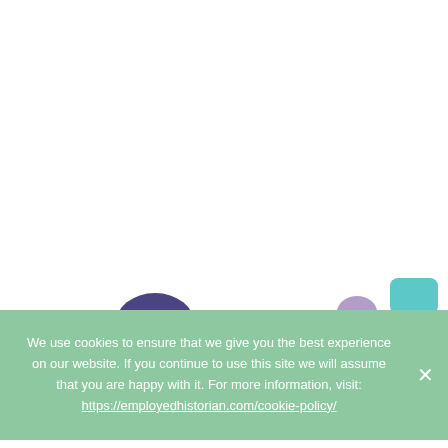[Figure (illustration): Partial view of a colorful flat-style illustration showing people at desks. Visible are: a dark purple/indigo rounded head shape (left figure), and a desk scene with purple/lavender and teal speech bubble shapes (right figure). The illustration is cropped at the bottom of the white area.]
We use cookies to ensure that we give you the best experience on our website. If you continue to use this site we will assume that you are happy with it. For more information, visit: https://employedhistorian.com/cookie-policy/